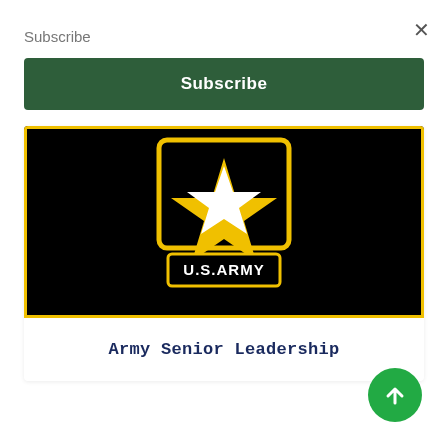Subscribe
×
Subscribe
[Figure (logo): U.S. Army logo on black background with yellow border. Shows a black square with yellow outline containing a white star above a yellow/gold star shape, with 'U.S.ARMY' text in a yellow-bordered black rectangle below.]
Army Senior Leadership